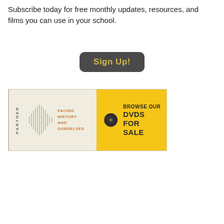Subscribe today for free monthly updates, resources, and films you can use in your school.
[Figure (other): Sign Up! button — dark rounded rectangle with gold text]
[Figure (other): Banner ad: Facing History and Ourselves partner logo on left (beige, with waveform graphic and orange text), Browse Our DVDs For Sale on right (yellow background with vinyl record icon and bold dark text)]